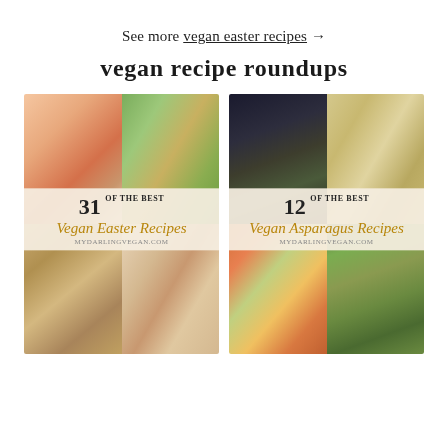See more vegan easter recipes →
vegan recipe roundups
[Figure (photo): Recipe roundup card for '31 of the Best Vegan Easter Recipes' from mydarlingvegan.com, showing a 2x2 grid of food photos including strawberry french toast, salad, garlic bread, and chocolate cake with berries.]
[Figure (photo): Recipe roundup card for '12 of the Best Vegan Asparagus Recipes' from mydarlingvegan.com, showing a 2x2 grid of food photos including fried asparagus, risotto, pasta salad, and asparagus tart.]